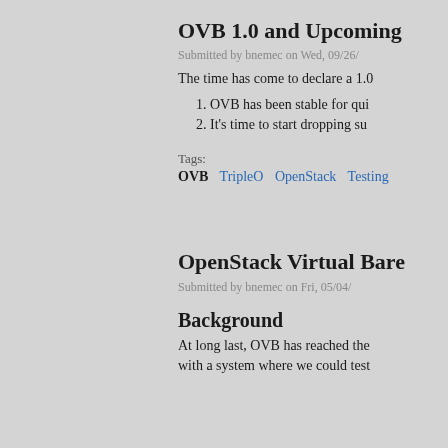OVB 1.0 and Upcoming
Submitted by bnemec on Wed, 09/26/...
The time has come to declare a 1.0...
1. OVB has been stable for qui...
2. It's time to start dropping su...
Tags:
OVB  TripleO  OpenStack  Testing
OpenStack Virtual Bare...
Submitted by bnemec on Fri, 05/04/...
Background
At long last, OVB has reached the...
with a system where we could test...